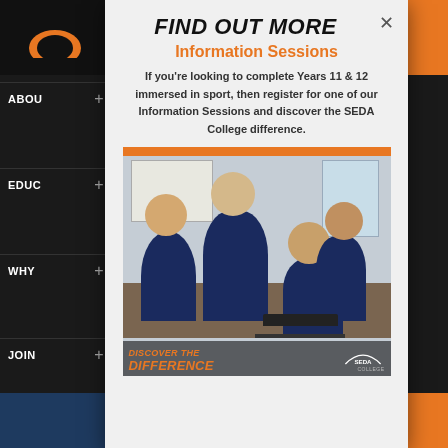FIND OUT MORE
Information Sessions
If you’re looking to complete Years 11 & 12 immersed in sport, then register for one of our Information Sessions and discover the SEDA College difference.
[Figure (photo): Students in a classroom setting wearing navy blue and orange uniforms, working together at desks. Overlay text reads 'DISCOVER THE DIFFERENCE' with SEDA College logo.]